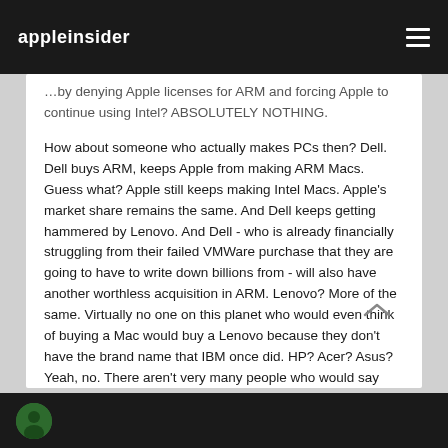appleinsider
by denying Apple licenses for ARM and forcing Apple to continue using Intel? ABSOLUTELY NOTHING.

How about someone who actually makes PCs then? Dell. Dell buys ARM, keeps Apple from making ARM Macs. Guess what? Apple still keeps making Intel Macs. Apple's market share remains the same. And Dell keeps getting hammered by Lenovo. And Dell - who is already financially struggling from their failed VMWare purchase that they are going to have to write down billions from - will also have another worthless acquisition in ARM. Lenovo? More of the same. Virtually no one on this planet who would even think of buying a Mac would buy a Lenovo because they don't have the brand name that IBM once did. HP? Acer? Asus? Yeah, no. There aren't very many people who would say "will I buy a MacBook Pro or will I buy an Acer Predator?" either. (By "very many" I mean absolutely none.)